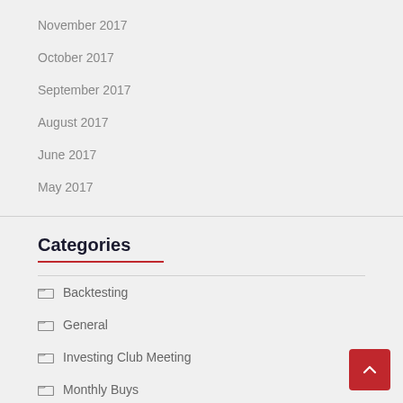November 2017
October 2017
September 2017
August 2017
June 2017
May 2017
Categories
Backtesting
General
Investing Club Meeting
Monthly Buys